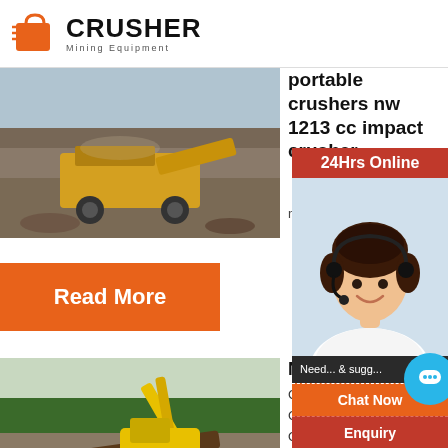[Figure (logo): Crusher Mining Equipment logo with red shopping bag icon and bold CRUSHER text]
[Figure (photo): Outdoor photo of portable crusher / impact crusher machine operating at a quarry site]
portable crushers nw 1213 cc impact crusher
nw 1213 c...
[Figure (other): Read More orange button]
[Figure (photo): Outdoor photo of excavator and crusher machine working on debris/logs at a forest site]
NW C10...
Css Se...
GoLect...
Online
[Figure (other): 24Hrs Online chat sidebar with agent photo, Chat Now, Enquiry, and email contact limingjlmofen@sina.com]